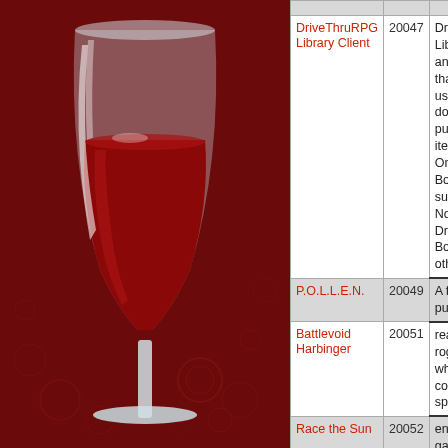[Figure (illustration): Wine application logo — a wine glass with red wine on a dark red background with decorative circular patterns]
| Application | AppID | Description |
| --- | --- | --- |
| DriveThruRPG Library Client | 20047 | DriveThruRPG Library Client an application that allows the user to download their purchased items from all One Bookshelf such as RPG Now, DriveThru Books and others. |
| P.O.L.L.E.N. | 20049 | A first person puzzle game. |
| Battlevoid Harbinger | 20051 | real-time roguelike where you command spaceships |
| Race the Sun | 20052 | endless racing game where you fly a solar... |